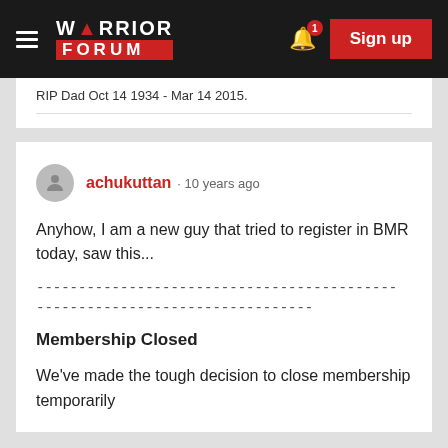Warrior Forum — Sign up
RIP Dad Oct 14 1934 - Mar 14 2015.
achukuttan · 10 years ago
Anyhow, I am a new guy that tried to register in BMR today, saw this...
-------------------------------------------
---------------------------------
Membership Closed
We've made the tough decision to close membership temporarily